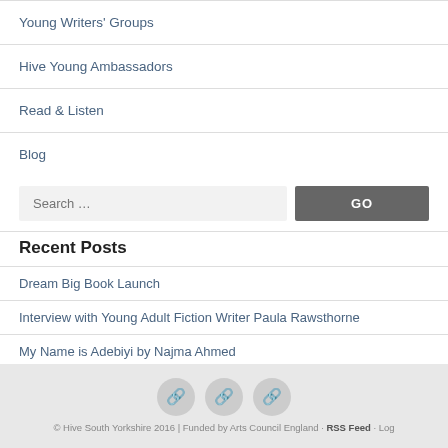Young Writers' Groups
Hive Young Ambassadors
Read & Listen
Blog
Recent Posts
Dream Big Book Launch
Interview with Young Adult Fiction Writer Paula Rawsthorne
My Name is Adebiyi by Najma Ahmed
We Are Everything Chapbook from Mixing Roots
If Buildings Could Speak
© Hive South Yorkshire 2016 | Funded by Arts Council England · RSS Feed · Log